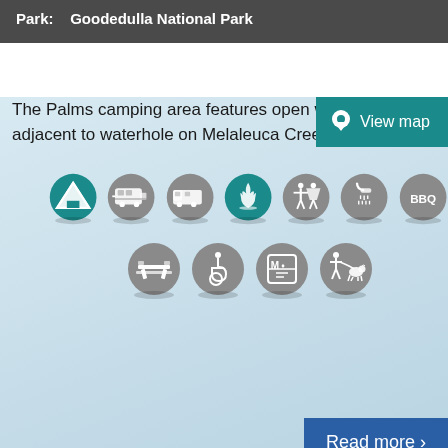Park: Goodedulla National Park
View map
The Palms camping area features open woodland adjacent to waterhole on Melaleuca Creek.
[Figure (infographic): Row of camping facility icons: tent (teal), caravan, motorhome, campfire (teal), toilets, shower, BBQ; second row: picnic table, wheelchair accessible, first aid/information, dog on leash]
Read more >